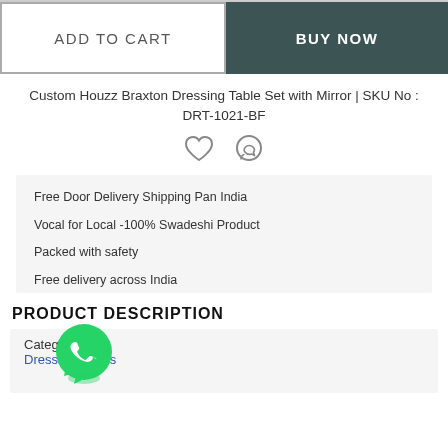[Figure (screenshot): Two buttons: 'ADD TO CART' (outlined) and 'BUY NOW' (dark teal background)]
Custom Houzz Braxton Dressing Table Set with Mirror | SKU No : DRT-1021-BF
[Figure (other): Heart (wishlist) and WhatsApp icons]
Free Door Delivery Shipping Pan India
Vocal for Local -100% Swadeshi Product
Packed with safety
Free delivery across India
PRODUCT DESCRIPTION
[Figure (logo): WhatsApp green circular logo]
Category : Dressing Tables